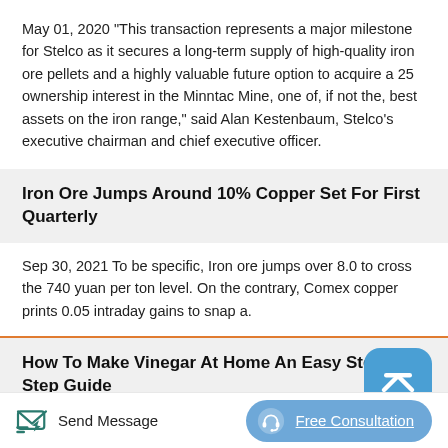May 01, 2020 “This transaction represents a major milestone for Stelco as it secures a long-term supply of high-quality iron ore pellets and a highly valuable future option to acquire a 25 ownership interest in the Minntac Mine, one of, if not the, best assets on the iron range,” said Alan Kestenbaum, Stelco’s executive chairman and chief executive officer.
Iron Ore Jumps Around 10% Copper Set For First Quarterly
Sep 30, 2021 To be specific, Iron ore jumps over 8.0 to cross the 740 yuan per ton level. On the contrary, Comex copper prints 0.05 intraday gains to snap a.
How To Make Vinegar At Home An Easy Step By Step Guide
Send Message
Free Consultation